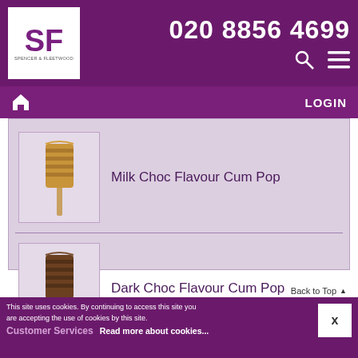020 8856 4699
LOGIN
Milk Choc Flavour Cum Pop
[Figure (photo): Product image of Milk Choc Flavour Cum Pop lollipop]
Dark Choc Flavour Cum Pop
[Figure (photo): Product image of Dark Choc Flavour Cum Pop lollipop]
This site uses cookies. By continuing to access this site you are accepting the use of cookies by this site. Read more about cookies... Customer Services